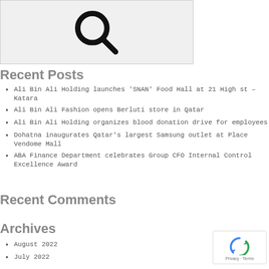[Figure (illustration): Search icon (magnifying glass) on a light gray background with border]
Recent Posts
Ali Bin Ali Holding launches ‘SNAN’ Food Hall at 21 High st – Katara
Ali Bin Ali Fashion opens Berluti store in Qatar
Ali Bin Ali Holding organizes blood donation drive for employees
Dohatna inaugurates Qatar’s largest Samsung outlet at Place Vendome Mall
ABA Finance Department celebrates Group CFO Internal Control Excellence Award
Recent Comments
Archives
August 2022
July 2022